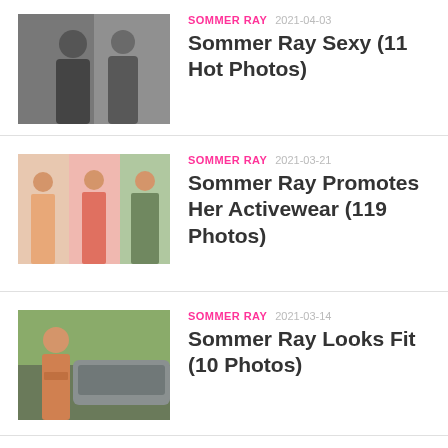SOMMER RAY 2021-04-03 Sommer Ray Sexy (11 Hot Photos)
SOMMER RAY 2021-03-21 Sommer Ray Promotes Her Activewear (119 Photos)
SOMMER RAY 2021-03-14 Sommer Ray Looks Fit (10 Photos)
SOMMER RAY 2021-03-24